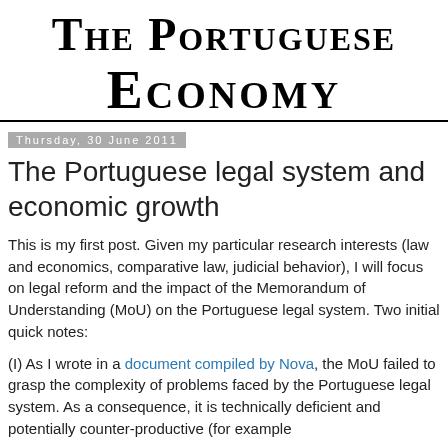The Portuguese Economy
Thursday, 30 June 2011
The Portuguese legal system and economic growth
This is my first post. Given my particular research interests (law and economics, comparative law, judicial behavior), I will focus on legal reform and the impact of the Memorandum of Understanding (MoU) on the Portuguese legal system. Two initial quick notes:
(I) As I wrote in a document compiled by Nova, the MoU failed to grasp the complexity of problems faced by the Portuguese legal system. As a consequence, it is technically deficient and potentially counter-productive (for example